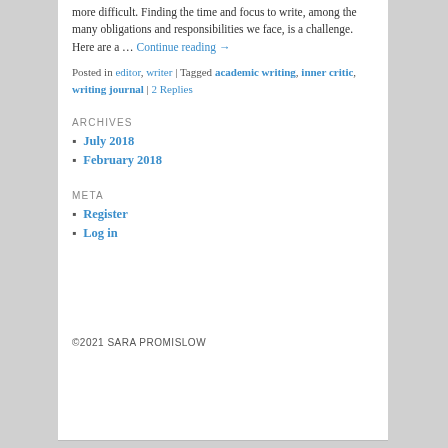more difficult. Finding the time and focus to write, among the many obligations and responsibilities we face, is a challenge. Here are a … Continue reading →
Posted in editor, writer | Tagged academic writing, inner critic, writing journal | 2 Replies
ARCHIVES
July 2018
February 2018
META
Register
Log in
©2021 SARA PROMISLOW